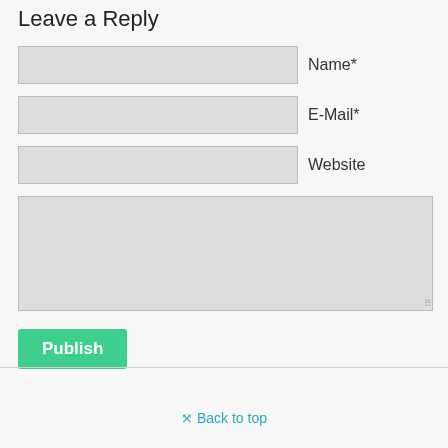Leave a Reply
Name*
E-Mail*
Website
Publish
Back to top